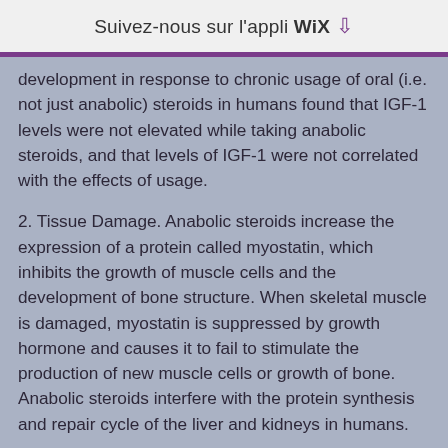Suivez-nous sur l'appli WiX ↓
development in response to chronic usage of oral (i.e. not just anabolic) steroids in humans found that IGF-1 levels were not elevated while taking anabolic steroids, and that levels of IGF-1 were not correlated with the effects of usage.
2. Tissue Damage. Anabolic steroids increase the expression of a protein called myostatin, which inhibits the growth of muscle cells and the development of bone structure. When skeletal muscle is damaged, myostatin is suppressed by growth hormone and causes it to fail to stimulate the production of new muscle cells or growth of bone. Anabolic steroids interfere with the protein synthesis and repair cycle of the liver and kidneys in humans.
3. Bone Loss. Anabolic steroids can inhibit